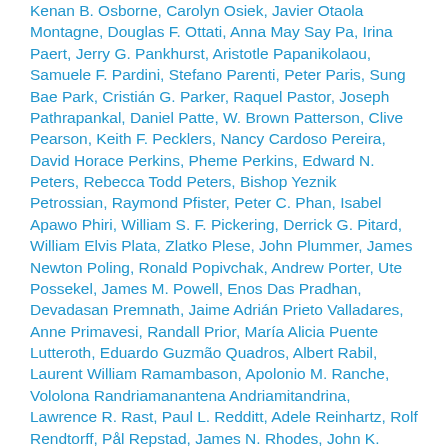Kenan B. Osborne, Carolyn Osiek, Javier Otaola Montagne, Douglas F. Ottati, Anna May Say Pa, Irina Paert, Jerry G. Pankhurst, Aristotle Papanikolaou, Samuele F. Pardini, Stefano Parenti, Peter Paris, Sung Bae Park, Cristián G. Parker, Raquel Pastor, Joseph Pathrapankal, Daniel Patte, W. Brown Patterson, Clive Pearson, Keith F. Pecklers, Nancy Cardoso Pereira, David Horace Perkins, Pheme Perkins, Edward N. Peters, Rebecca Todd Peters, Bishop Yeznik Petrossian, Raymond Pfister, Peter C. Phan, Isabel Apawo Phiri, William S. F. Pickering, Derrick G. Pitard, William Elvis Plata, Zlatko Plese, John Plummer, James Newton Poling, Ronald Popivchak, Andrew Porter, Ute Possekel, James M. Powell, Enos Das Pradhan, Devadasan Premnath, Jaime Adrián Prieto Valladares, Anne Primavesi, Randall Prior, María Alicia Puente Lutteroth, Eduardo Guzmão Quadros, Albert Rabil, Laurent William Ramambason, Apolonio M. Ranche, Vololona Randriamanantena Andriamitandrina, Lawrence R. Rast, Paul L. Redditt, Adele Reinhartz, Rolf Rendtorff, Pål Repstad, James N. Rhodes, John K. Riches, Joerg Rieger, Sharon H. Ringe, Sandra Rios, Tyler Roberts, David M. Robinson, James M. Robinson, Joanna Maguire Robinson, Richard A. H.